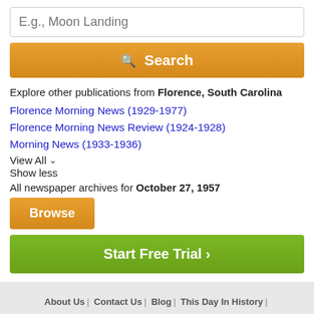E.g., Moon Landing
Search
Explore other publications from Florence, South Carolina
Florence Morning News (1929-1977)
Florence Morning News Review (1924-1928)
Morning News (1933-1936)
View All
Show less
All newspaper archives for October 27, 1957
Browse
Start Free Trial
About Us | Contact Us | Blog | This Day In History | Free Newspaper Archives | Terms | Privacy | Copyright | Your California Privacy Rights | Sitemap
© Copyright 2022 NewspaperARCHIVE.com. All rights reserved.